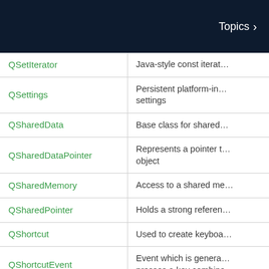Topics
| Class | Description |
| --- | --- |
| QSetIterator | Java-style const iterat… |
| QSettings | Persistent platform-in… settings |
| QSharedData | Base class for shared… |
| QSharedDataPointer | Represents a pointer t… object |
| QSharedMemory | Access to a shared me… |
| QSharedPointer | Holds a strong referen… |
| QShortcut | Used to create keyboa… |
| QShortcutEvent | Event which is genera… presses a key combina… |
| QShowEvent | Event that is sent whe… |
| QSignalBlocker | Exception-safe wrapp… QObject::blockSignals(… |
| QSignalMapper | Bundles signals from i… |